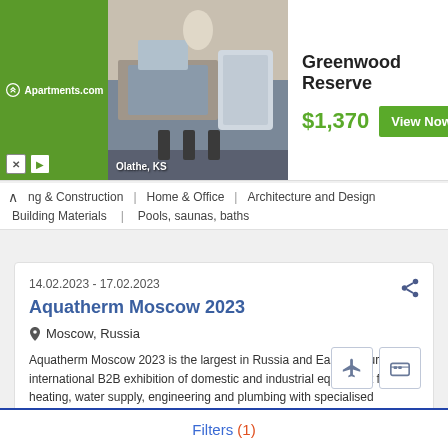[Figure (photo): Apartments.com advertisement banner showing a kitchen photo with 'Olathe, KS' label, Greenwood Reserve listing at $1,370 with a View Now button]
ng & Construction   Home & Office   Architecture and Design
Building Materials   Pools, saunas, baths
14.02.2023 - 17.02.2023
Aquatherm Moscow 2023
Moscow, Russia
Aquatherm Moscow 2023 is the largest in Russia and Eastern Europe international B2B exhibition of domestic and industrial equipment for heating, water supply, engineering and plumbing with specialised sections for ventilation, air conditioning & refrigeration (AirVent) and for pools, saunas, spas (World of Water & Spa)
Filters (1)